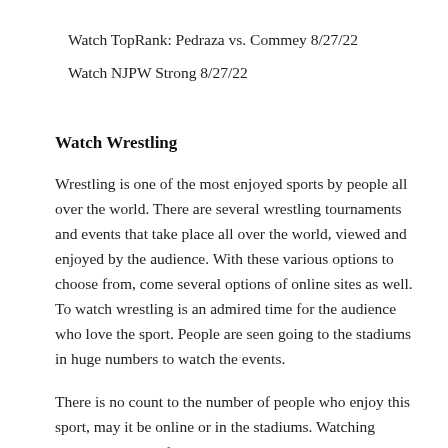Watch TopRank: Pedraza vs. Commey 8/27/22
Watch NJPW Strong 8/27/22
Watch Wrestling
Wrestling is one of the most enjoyed sports by people all over the world. There are several wrestling tournaments and events that take place all over the world, viewed and enjoyed by the audience. With these various options to choose from, come several options of online sites as well. To watch wrestling is an admired time for the audience who love the sport. People are seen going to the stadiums in huge numbers to watch the events.
There is no count to the number of people who enjoy this sport, may it be online or in the stadiums. Watching wrestling is one of the reasons that binds the world